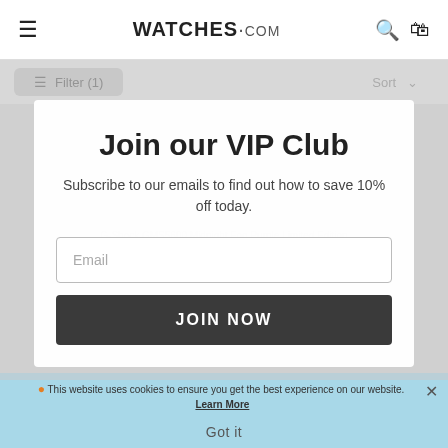WATCHES.COM
Filter (1)   Sort
[Figure (screenshot): Product image of G-Shock watch, dimmed behind modal]
G-Shock GMS5600 Midnight Fog Purple Limited Edition
$190.00
Join our VIP Club
Subscribe to our emails to find out how to save 10% off today.
Email
JOIN NOW
This website uses cookies to ensure you get the best experience on our website. Learn More
Got it